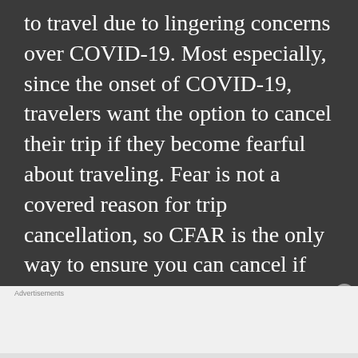to travel due to lingering concerns over COVID-19. Most especially, since the onset of COVID-19, travelers want the option to cancel their trip if they become fearful about traveling. Fear is not a covered reason for trip cancellation, so CFAR is the only way to ensure you can cancel if you're afraid to travel. Additionally, if travelers are nervous about planning international trips such as honeymoons, spring break plans or destination weddings due to COVID-19 concerns, CFAR may be a
[Figure (photo): MAC cosmetics advertisement banner showing colorful lipsticks (purple, peach, pink, red) alongside the MAC logo and a 'SHOP NOW' call-to-action button]